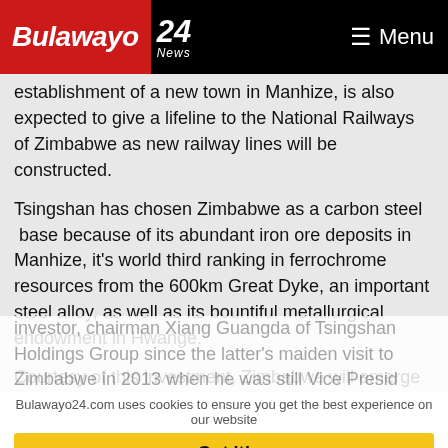Bulawayo 24 News | Menu
establishment of a new town in Manhize, is also expected to give a lifeline to the National Railways of Zimbabwe as new railway lines will be constructed.
Tsingshan has chosen Zimbabwe as a carbon steel base because of its abundant iron ore deposits in Manhize, it's world third ranking in ferrochrome resources from the 600km Great Dyke, an important steel alloy, as well as its bountiful metallurgical endowment in Hwange.
Courtesy of this investment, Zimbabwe will emerge as the world's lowest cost carbon steel producer.
President Mnangagwa has been ardently courting the investor, chairman Xiang Guangda of Tsingshan Holdings Group since the latter's maiden visit to Zimbabwe in 2013 when he was still Vice Presid...
Bulawayo24.com uses cookies to ensure you get the best experience on our website
Got it!